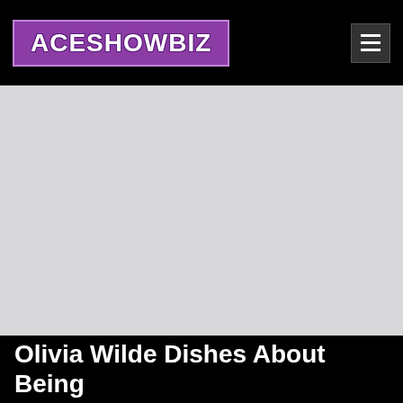ACESHOWBIZ
[Figure (photo): Large light gray image placeholder area below the navigation header]
Olivia Wilde Dishes About Being